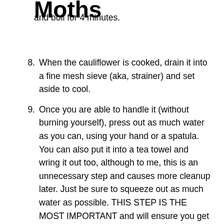Moths
and boil for 4 minutes.
8. When the cauliflower is cooked, drain it into a fine mesh sieve (aka, strainer) and set aside to cool.
9. Once you are able to handle it (without burning yourself), press out as much water as you can, using your hand or a spatula. You can also put it into a tea towel and wring it out too, although to me, this is an unnecessary step and causes more cleanup later. Just be sure to squeeze out as much water as possible. THIS STEP IS THE MOST IMPORTANT and will ensure you get a chewy pizza-like crust instead of a rubbery, crumbly mess.
10. Next, dump the cauliflower into a bowl and add all your spices, almond meal, nutritional yeast, and olive oil.
11. Mix to incorporate and then add your egg. Mix again. I prefer to use my hands for this, although a large spoon